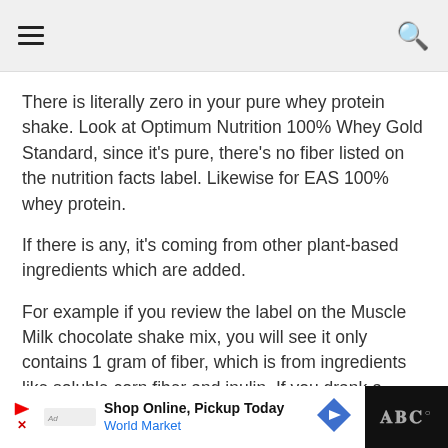hamburger menu | search icon
There is literally zero in your pure whey protein shake. Look at Optimum Nutrition 100% Whey Gold Standard, since it's pure, there's no fiber listed on the nutrition facts label. Likewise for EAS 100% whey protein.
If there is any, it's coming from other plant-based ingredients which are added.
For example if you review the label on the Muscle Milk chocolate shake mix, you will see it only contains 1 gram of fiber, which is from ingredients like soluble corn fiber and inulin. If you drank a glass of regular milk or ate a grilled chicken breast, it would literally provide you with zero grams of fiber.
Shop Online, Pickup Today — World Market advertisement